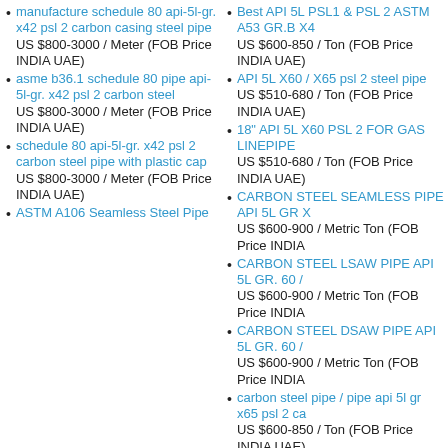manufacture schedule 80 api-5l-gr. x42 psl 2 carbon casing steel pipe
US $800-3000 / Meter (FOB Price INDIA UAE)
asme b36.1 schedule 80 pipe api-5l-gr. x42 psl 2 carbon steel
US $800-3000 / Meter (FOB Price INDIA UAE)
schedule 80 api-5l-gr. x42 psl 2 carbon steel pipe with plastic cap
US $800-3000 / Meter (FOB Price INDIA UAE)
ASTM A106 Seamless Steel Pipe
Best API 5L PSL1 & PSL 2 ASTM A53 GR.B X42
US $600-850 / Ton (FOB Price INDIA UAE)
API 5L X60 / X65 psl 2 steel pipe
US $510-680 / Ton (FOB Price INDIA UAE)
18" API 5L X60 PSL 2 FOR GAS LINEPIPE
US $510-680 / Ton (FOB Price INDIA UAE)
CARBON STEEL SEAMLESS PIPE API 5L GR X
US $600-900 / Metric Ton (FOB Price INDIA
CARBON STEEL LSAW PIPE API 5L GR. 60 /
US $600-900 / Metric Ton (FOB Price INDIA
CARBON STEEL DSAW PIPE API 5L GR. 60 /
US $600-900 / Metric Ton (FOB Price INDIA
carbon steel pipe / pipe api 5l gr x65 psl 2 ca
US $600-850 / Ton (FOB Price INDIA UAE)
pipe api 5l gr x65 psl 2 Carbon Steel Seamles
US $700-950 / Ton (FOB Price INDIA UAE)
Carbon Steel Seamless Pipe API 5L X65 PSL
US $500-3000 / Ton (FOB Price INDIA UAE)
CARBON STEEL SEAMLESS PIPE API 5L GR X
US $850-960 / Ton (FOB Price INDIA UAE)
CARBON STEEL LSAW PIPE API 5L GR. 60 /
US $1-800 / Ton (FOB Price INDIA UAE)